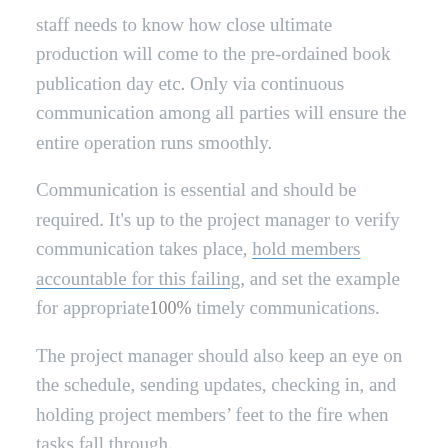staff needs to know how close ultimate production will come to the pre-ordained book publication day etc. Only via continuous communication among all parties will ensure the entire operation runs smoothly.
Communication is essential and should be required. It's up to the project manager to verify communication takes place, hold members accountable for this failing, and set the example for appropriate and timely communications.
The project manager should also keep an eye on the schedule, sending updates, checking in, and holding project members' feet to the fire when tasks fall through.
In larger corporations, it's easy for team members and project assignments to fall through the cracks. Workflow